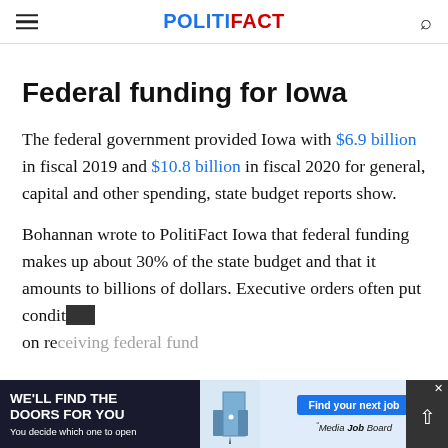POLITIFACT
Federal funding for Iowa
The federal government provided Iowa with $6.9 billion in fiscal 2019 and $10.8 billion in fiscal 2020 for general, capital and other spending, state budget reports show.
Bohannan wrote to PolitiFact Iowa that federal funding makes up about 30% of the state budget and that it amounts to billions of dollars. Executive orders often put conditions on re...
[Figure (other): Advertisement banner: 'WE'LL FIND THE DOORS FOR YOU / You decide which one to open' with 'Find your next job' button and 'Media Job Board' logo]